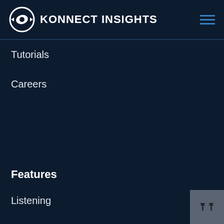KONNECT INSIGHTS
Tutorials
Careers
Features
Listening
Social CRM
Analytics